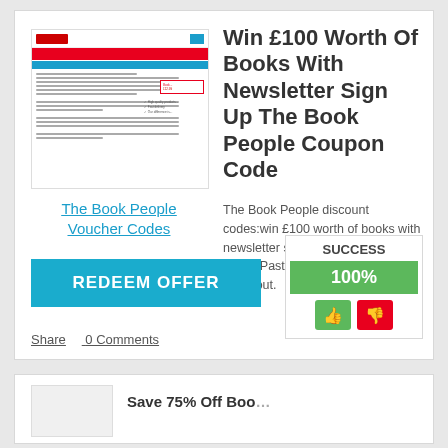[Figure (screenshot): Screenshot thumbnail of The Book People website showing red header bar, blue navigation, and content]
The Book People Voucher Codes
Win £100 Worth Of Books With Newsletter Sign Up The Book People Coupon Code
The Book People discount codes:win £100 worth of books with newsletter sign up promo codes.Paste voucher code at the checkout.
REDEEM OFFER
SUCCESS
100%
Share   0 Comments
[Figure (screenshot): Partial screenshot of a second card at bottom of page]